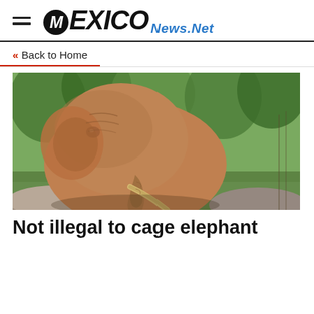Mexico News.Net
« Back to Home
[Figure (photo): Close-up photograph of an African elephant with tusks, resting its trunk on rocks, with green trees and grass in the background.]
Not illegal to cage elephant